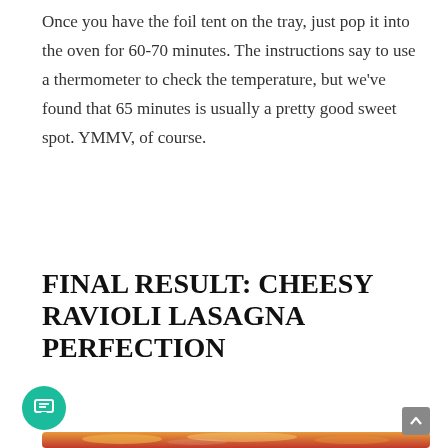Once you have the foil tent on the tray, just pop it into the oven for 60-70 minutes. The instructions say to use a thermometer to check the temperature, but we've found that 65 minutes is usually a pretty good sweet spot. YMMV, of course.
FINAL RESULT: CHEESY RAVIOLI LASAGNA PERFECTION
[Figure (photo): A baking tray of cheesy ravioli lasagna fresh from the oven, topped with melted orange/yellow cheese with a tomato sauce visible around the edges, in a glass or metal baking dish on a dark oven rack.]